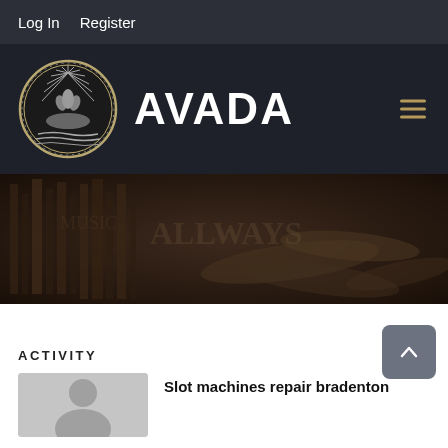Log In   Register
[Figure (logo): Avada website header with circular emblem logo and AVADA brand name on dark background, with hamburger menu icon]
[Figure (photo): Dark moody hero image showing musical instruments (cymbals/drum kit area) and shelves in background]
ACTIVITY
[Figure (photo): Gray placeholder avatar image with person silhouette]
Slot machines repair bradenton